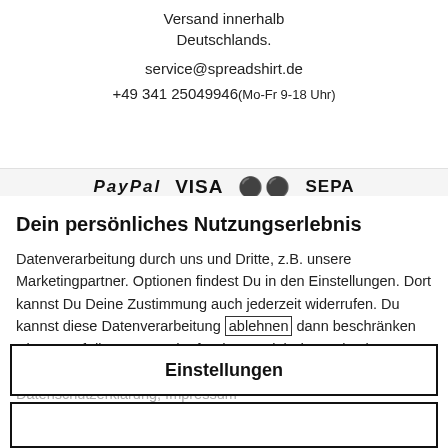Versand innerhalb Deutschlands.
service@spreadshirt.de
+49 341 25049946 (Mo-Fr 9-18 Uhr)
[Figure (logo): Payment logos: PayPal, VISA, Mastercard, SEPA]
Dein persönliches Nutzungserlebnis
Datenverarbeitung durch uns und Dritte, z.B. unsere Marketingpartner. Optionen findest Du in den Einstellungen. Dort kannst Du Deine Zustimmung auch jederzeit widerrufen. Du kannst diese Datenverarbeitung ablehnen dann beschränken wir uns auf die Nutzung der für den Betrieb der Webseiten erforderlichen Dienste. Finde weitere Infos in der Datenschutzerklärung, Impressum
Einstellungen